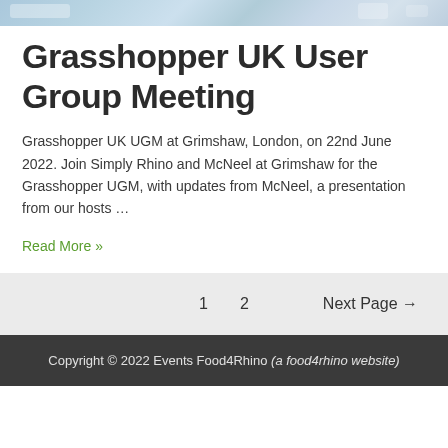[Figure (screenshot): Partial screenshot of a software or web interface with light blue and teal toned UI elements]
Grasshopper UK User Group Meeting
Grasshopper UK UGM at Grimshaw, London, on 22nd June 2022. Join Simply Rhino and McNeel at Grimshaw for the Grasshopper UGM, with updates from McNeel, a presentation from our hosts …
Read More »
1  2  Next Page →
Copyright © 2022 Events Food4Rhino (a food4rhino website)